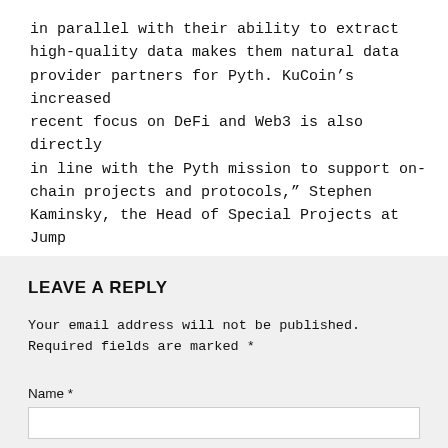in parallel with their ability to extract high-quality data makes them natural data provider partners for Pyth. KuCoin’s increased recent focus on DeFi and Web3 is also directly in line with the Pyth mission to support on-chain projects and protocols,” Stephen Kaminsky, the Head of Special Projects at Jump Crypto.
LEAVE A REPLY
Your email address will not be published. Required fields are marked *
Name *